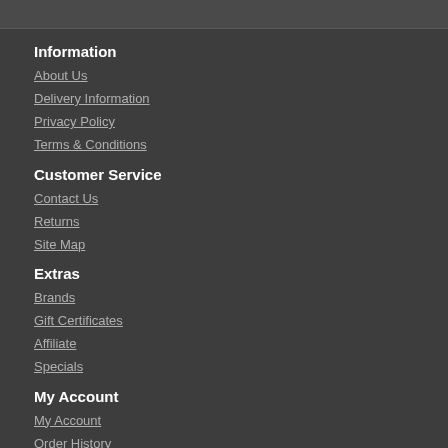Information
About Us
Delivery Information
Privacy Policy
Terms & Conditions
Customer Service
Contact Us
Returns
Site Map
Extras
Brands
Gift Certificates
Affiliate
Specials
My Account
My Account
Order History